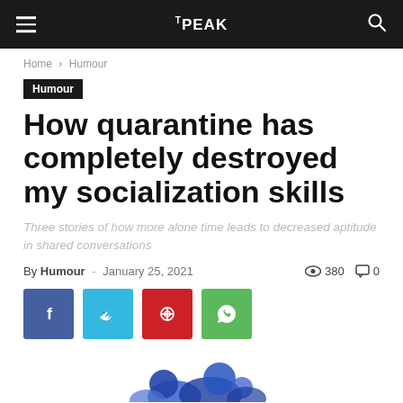The PEAK
Home › Humour
Humour
How quarantine has completely destroyed my socialization skills
Three stories of how more alone time leads to decreased aptitude in shared conversations
By Humour - January 25, 2021   380   0
[Figure (illustration): Partial illustration of cartoon figures at bottom of page, blue tones]